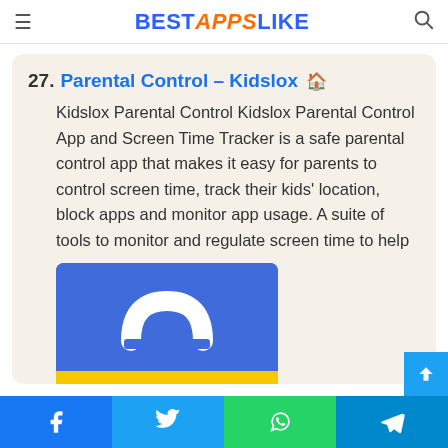BESTAPPSLIKE
27. Parental Control – Kidslox 🏠
Kidslox Parental Control Kidslox Parental Control App and Screen Time Tracker is a safe parental control app that makes it easy for parents to control screen time, track their kids' location, block apps and monitor app usage. A suite of tools to monitor and regulate screen time to help
[Figure (screenshot): App screenshot showing a lock icon on a blue/yellow background — Kidslox Parental Control app image]
Facebook | Twitter | WhatsApp | Telegram social share buttons